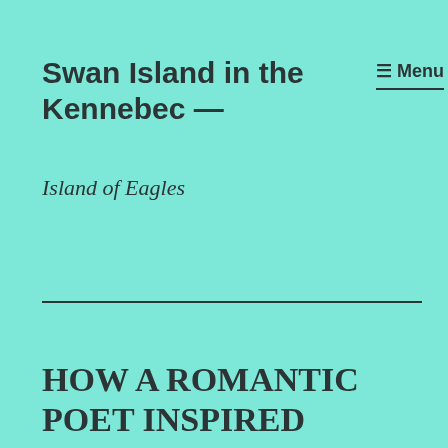Swan Island in the Kennebec —
Island of Eagles
☰ Menu
HOW A ROMANTIC POET INSPIRED